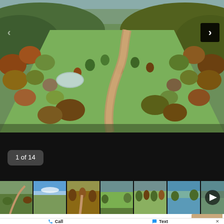[Figure (photo): Aerial drone photograph of a rural property showing a dirt road winding through green pasturelands flanked by autumn-colored trees, with a small pond visible on the left side and rolling hills in the background]
1 of 14
[Figure (photo): Row of 7 thumbnail images of the property from various angles: aerial view, fields with blue sky, dirt path through trees, pasture vista, open field with trees, lake/pond view, and one more landscape scene with a play button overlay]
Call
Text